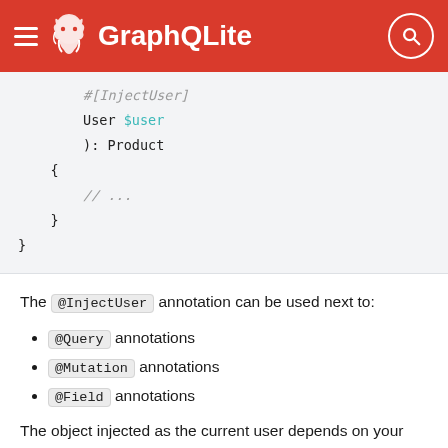GraphQLite
[Figure (screenshot): Code block showing PHP annotation syntax with #[InjectUser], User $user, ): Product, {, // ..., }, }]
The @InjectUser annotation can be used next to:
@Query annotations
@Mutation annotations
@Field annotations
The object injected as the current user depends on your framework. It is in fact the object returned by the "authentication service" configured in